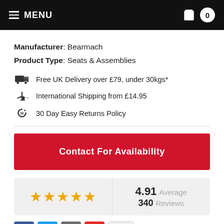MENU  0
Manufacturer: Bearmach
Product Type: Seats & Assemblies
Free UK Delivery over £79, under 30kgs*
International Shipping from £14.95
30 Day Easy Returns Policy
Contact For Availability
4.91 Average
340 Reviews